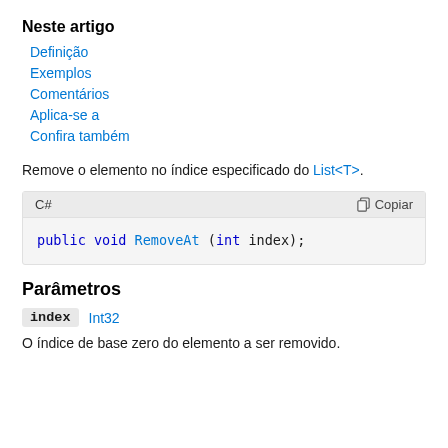Neste artigo
Definição
Exemplos
Comentários
Aplica-se a
Confira também
Remove o elemento no índice especificado do List<T>.
[Figure (screenshot): C# code block showing: public void RemoveAt (int index); with a Copiar (Copy) button]
Parâmetros
index   Int32
O índice de base zero do elemento a ser removido.